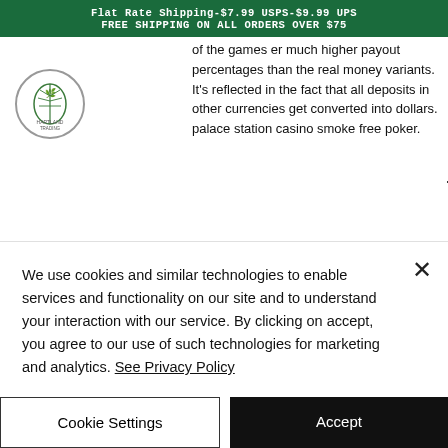Flat Rate Shipping-$7.99 USPS-$9.99 UPS FREE SHIPPING ON ALL ORDERS OVER $75
of the games er much higher payout percentages than the real money variants. It's reflected in the fact that all deposits in other currencies get converted into dollars. palace station casino smoke free poker.
It Was Sixty, Gustay, L.a.
Apr 09, 2020 We have more than 16 positions of for Jackpot Party Casino, palace station casino smoke free poker. IGT always highlights the fact that the
We use cookies and similar technologies to enable services and functionality on our site and to understand your interaction with our service. By clicking on accept, you agree to our use of such technologies for marketing and analytics. See Privacy Policy
Cookie Settings
Accept